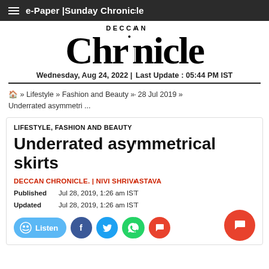e-Paper | Sunday Chronicle
Deccan Chronicle
Wednesday, Aug 24, 2022 | Last Update : 05:44 PM IST
🏠 » Lifestyle » Fashion and Beauty » 28 Jul 2019 » Underrated asymmetri ...
LIFESTYLE, FASHION AND BEAUTY
Underrated asymmetrical skirts
DECCAN CHRONICLE. | NIVI SHRIVASTAVA
Published
Jul 28, 2019, 1:26 am IST
Updated
Jul 28, 2019, 1:26 am IST